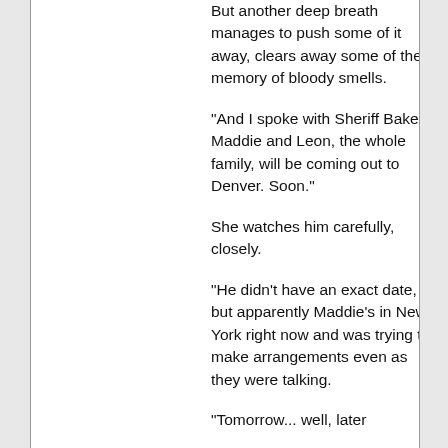But another deep breath manages to push some of it away, clears away some of the memory of bloody smells.
"And I spoke with Sheriff Baker. Maddie and Leon, the whole family, will be coming out to Denver. Soon."
She watches him carefully, closely.
"He didn't have an exact date, but apparently Maddie's in New York right now and was trying to make arrangements even as they were talking.
"Tomorrow... well, later